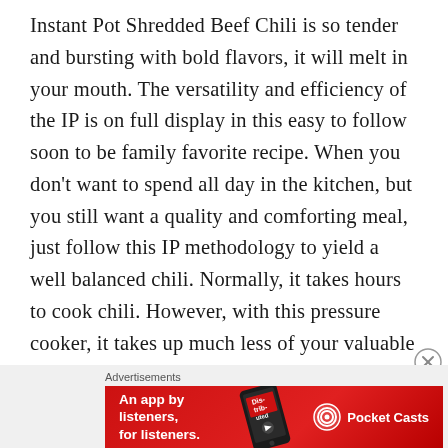Instant Pot Shredded Beef Chili is so tender and bursting with bold flavors, it will melt in your mouth. The versatility and efficiency of the IP is on full display in this easy to follow soon to be family favorite recipe. When you don't want to spend all day in the kitchen, but you still want a quality and comforting meal, just follow this IP methodology to yield a well balanced chili. Normally, it takes hours to cook chili. However, with this pressure cooker, it takes up much less of your valuable time and gives equivalent results when compared to the classic Dutch Oven. Follow step by step and you'll have an amazing warm meal at your table.
[Figure (infographic): Advertisement banner: Red background with white bold text 'An app by listeners, for listeners.' and Pocket Casts logo on the right, with a phone graphic in the center showing a podcast app.]